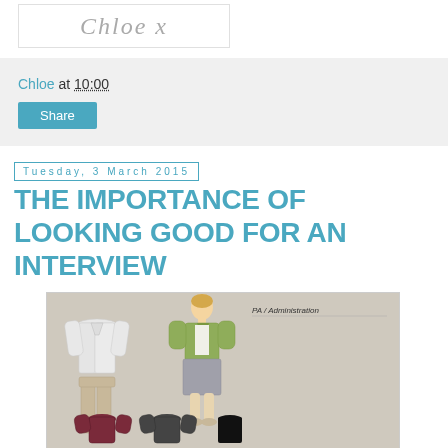[Figure (illustration): Cursive handwritten signature reading 'Chloe x' in light gray on white background with border]
Chloe at 10:00
Share
Tuesday, 3 March 2015
THE IMPORTANCE OF LOOKING GOOD FOR AN INTERVIEW
[Figure (infographic): Interview dress code infographic showing fashion illustration of a woman in PA/Administration interview outfit (green cardigan, grey skirt) alongside flat-lay of the outfit components (white blazer, beige trousers). Text reads: PA / Administration - Keep your style simple and fuss-free for a PA or Administration interview. Don't dress too corporate but instead, bring some colour to your outfit in the form of a bag or jacket to really stand out from other candidates. Bottom row shows additional outfit options.]